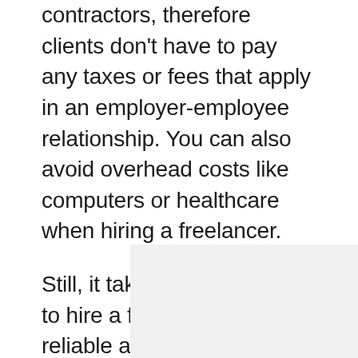contractors, therefore clients don't have to pay any taxes or fees that apply in an employer-employee relationship. You can also avoid overhead costs like computers or healthcare when hiring a freelancer.
Still, it takes time and effort to hire a freelancer who's reliable and within your budget. Additionally, there are a few other legal aspects such as worker classification.
[Figure (other): Gray placeholder image box]